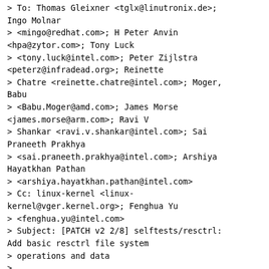> To: Thomas Gleixner <tglx@linutronix.de>; Ingo Molnar
> <mingo@redhat.com>; H Peter Anvin <hpa@zytor.com>; Tony Luck
> <tony.luck@intel.com>; Peter Zijlstra <peterz@infradead.org>; Reinette
> Chatre <reinette.chatre@intel.com>; Moger, Babu
> <Babu.Moger@amd.com>; James Morse <james.morse@arm.com>; Ravi V
> Shankar <ravi.v.shankar@intel.com>; Sai Praneeth Prakhya
> <sai.praneeth.prakhya@intel.com>; Arshiya Hayatkhan Pathan
> <arshiya.hayatkhan.pathan@intel.com>
> Cc: linux-kernel <linux-kernel@vger.kernel.org>; Fenghua Yu
> <fenghua.yu@intel.com>
> Subject: [PATCH v2 2/8] selftests/resctrl: Add basic resctrl file system
> operations and data
>
> From: Sai Praneeth Prakhya <sai.praneeth.prakhya@intel.com>
>
> The basic resctrl file system operations and data are added for future
> usage by resctrl selftest tool.
>
> Signed-off-by: Sai Praneeth Prakhya
<sai.praneeth.prakhya@intel.com>